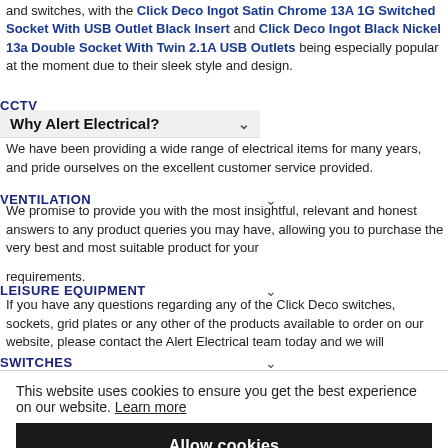and switches, with the Click Deco Ingot Satin Chrome 13A 1G Switched Socket With USB Outlet Black Insert and Click Deco Ingot Black Nickel 13a Double Socket With Twin 2.1A USB Outlets being especially popular at the moment due to their sleek style and design.
Why Alert Electrical?
We have been providing a wide range of electrical items for many years, and pride ourselves on the excellent customer service provided. We promise to provide you with the most insightful, relevant and honest answers to any product queries you may have, allowing you to purchase the very best and most suitable product for your requirements.
If you have any questions regarding any of the Click Deco switches, sockets, grid plates or any other of the products available to order on our website, please contact the Alert Electrical team today and we will
This website uses cookies to ensure you get the best experience on our website. Learn more
Allow cookies
feefo Reviews